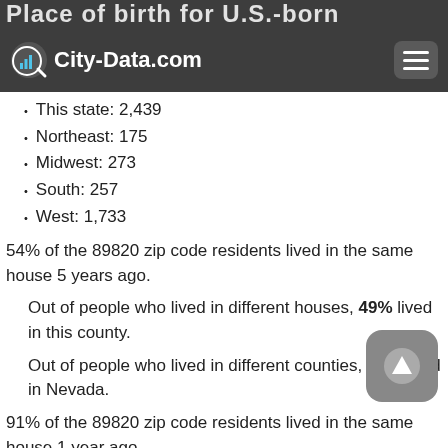City-Data.com
This state: 2,439
Northeast: 175
Midwest: 273
South: 257
West: 1,733
54% of the 89820 zip code residents lived in the same house 5 years ago.
Out of people who lived in different houses, 49% lived in this county.
Out of people who lived in different counties, 50% lived in Nevada.
91% of the 89820 zip code residents lived in the same house 1 year ago.
Out of people who lived in different houses, 53% moved from this county.
Out of people who lived in different houses, 28% moved from